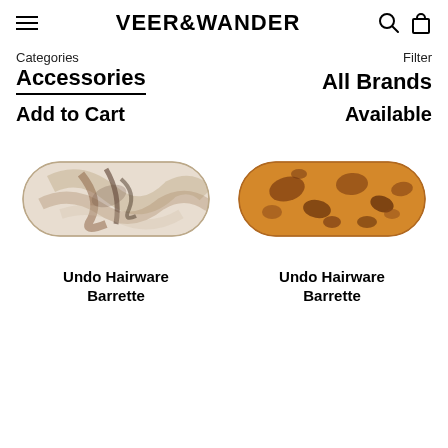VEER&WANDER
Categories
Filter
Accessories
All Brands
Add to Cart
Available
[Figure (photo): Hair clip/barrette with white and brown marble swirl pattern on white background]
[Figure (photo): Hair clip/barrette with amber/tortoiseshell spotted pattern on white background]
Undo Hairware
Undo Hairware